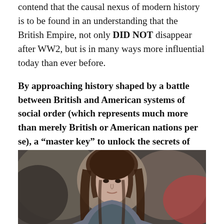contend that the causal nexus of modern history is to be found in an understanding that the British Empire, not only DID NOT disappear after WW2, but is in many ways more influential today than ever before.
By approaching history shaped by a battle between British and American systems of social order (which represents much more than merely British or American nations per se), a "master key" to unlock the secrets of Britain's takeover of America (and Europe) throughout the 20th century can be found by exploring the strange case of Canada.
[Figure (photo): A woman with long brown hair photographed from below against a blurred dark background, partial face and shoulders visible]